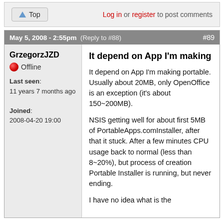▲ Top   Log in or register to post comments
May 5, 2008 - 2:55pm  (Reply to #88)  #89
GrzegorzJZD
● Offline
Last seen: 11 years 7 months ago
Joined: 2008-04-20 19:00
It depend on App I'm making
It depend on App I'm making portable. Usually about 20MB, only OpenOffice is an exception (it's about 150~200MB).
NSIS getting well for about first 5MB of PortableApps.comInstaller, after that it stuck. After a few minutes CPU usage back to normal (less than 8~20%), but process of creation Portable Installer is running, but never ending.
I have no idea what is the